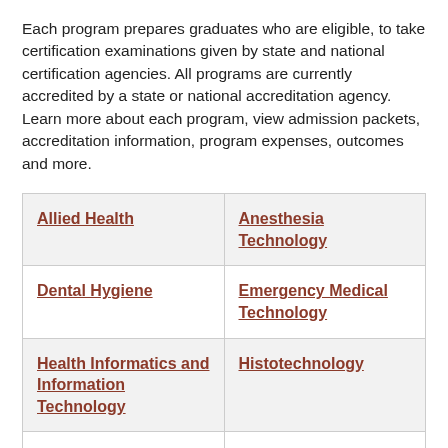Each program prepares graduates who are eligible, to take certification examinations given by state and national certification agencies. All programs are currently accredited by a state or national accreditation agency. Learn more about each program, view admission packets, accreditation information, program expenses, outcomes and more.
| Allied Health | Anesthesia Technology |
| Dental Hygiene | Emergency Medical Technology |
| Health Informatics and Information Technology | Histotechnology |
| Medical Imaging | Medical Laboratory Technology |